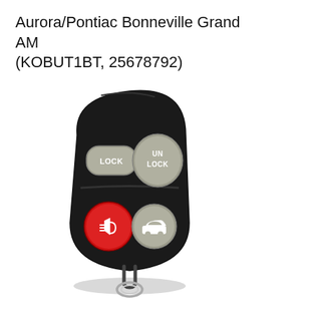Aurora/Pontiac Bonneville Grand AM (KOBUT1BT, 25678792)
[Figure (photo): A black car key fob remote with four buttons: a rectangular gray LOCK button, a larger gray UN LOCK button, a round red panic/alarm button with a horn icon, and a round gray trunk button with a car icon. A metal key ring is visible at the bottom.]